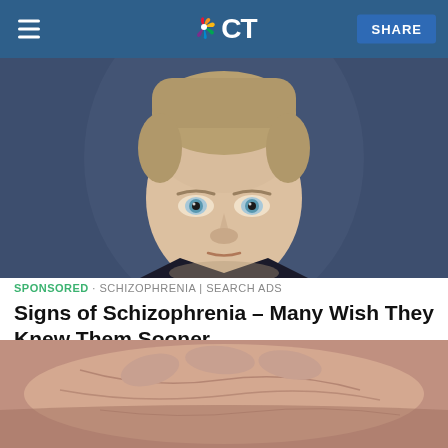NBC CT — SHARE
[Figure (photo): Close-up portrait of a young man with short blond hair and intense blue eyes staring straight at the camera, set against a dark blue-grey background.]
SPONSORED · SCHIZOPHRENIA | SEARCH ADS
Signs of Schizophrenia – Many Wish They Knew Them Sooner
[Figure (photo): Close-up image of elderly wrinkled hands, partially cropped at bottom of page.]